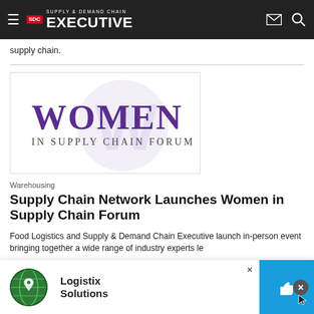Supply & Demand Chain Executive
supply chain.
[Figure (logo): Women in Supply Chain Forum logo — large purple text 'WOMEN' with 'IN SUPPLY CHAIN FORUM' below, overlaid on a light purple circular watermark]
Warehousing
Supply Chain Network Launches Women in Supply Chain Forum
Food Logistics and Supply & Demand Chain Executive launch in-person event bringing together a wide range of industry experts le...
[Figure (illustration): Advertisement banner for Logistix Solutions featuring a globe icon and thumbs-up icon]